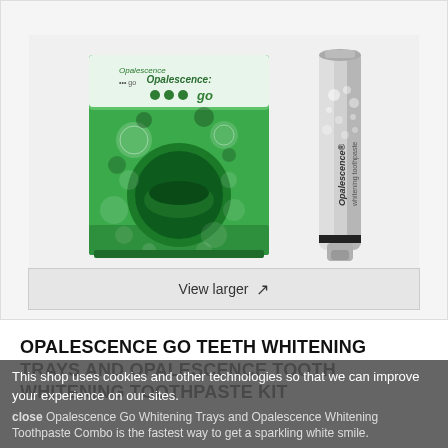[Figure (photo): Product photo showing Opalescence Go whitening trays box (green with bubble circles design) on the left, and Opalescence whitening toothpaste tube (silver/grey) on the right, on a light grey background.]
View larger ↗
OPALESCENCE GO TEETH WHITENING TRAYS AND OPALESCENCE TOOTH WHITENING TOOTHPASTE KIT
This shop uses cookies and other technologies so that we can improve your experience on our sites.
close Opalescence Go Whitening Trays and Opalescence Whitening Toothpaste Combo is the fastest way to get a sparkling white smile.